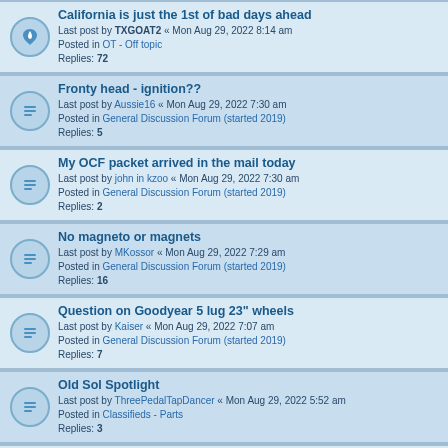California is just the 1st of bad days ahead
Last post by TXGOAT2 « Mon Aug 29, 2022 8:14 am
Posted in OT - Off topic
Replies: 72
Fronty head - ignition??
Last post by Aussie16 « Mon Aug 29, 2022 7:30 am
Posted in General Discussion Forum (started 2019)
Replies: 5
My OCF packet arrived in the mail today
Last post by john in kzoo « Mon Aug 29, 2022 7:30 am
Posted in General Discussion Forum (started 2019)
Replies: 2
No magneto or magnets
Last post by MKossor « Mon Aug 29, 2022 7:29 am
Posted in General Discussion Forum (started 2019)
Replies: 16
Question on Goodyear 5 lug 23" wheels
Last post by Kaiser « Mon Aug 29, 2022 7:07 am
Posted in General Discussion Forum (started 2019)
Replies: 7
Old Sol Spotlight
Last post by ThreePedalTapDancer « Mon Aug 29, 2022 5:52 am
Posted in Classifieds - Parts
Replies: 3
Stevens Front Axle Inserts FS
Last post by Dan Hatch « Mon Aug 29, 2022 5:32 am
Posted in Classifieds - Parts
Replies: 4
Ford and Malcomson, fourth installment, and final thoughts.
Last post by Rob « Mon Aug 29, 2022 4:49 am